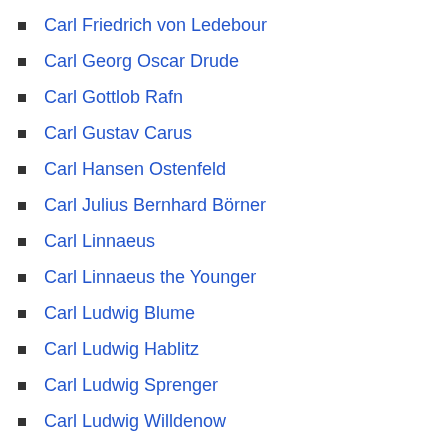Carl Friedrich von Ledebour
Carl Georg Oscar Drude
Carl Gottlob Rafn
Carl Gustav Carus
Carl Hansen Ostenfeld
Carl Julius Bernhard Börner
Carl Linnaeus
Carl Linnaeus the Younger
Carl Ludwig Blume
Carl Ludwig Hablitz
Carl Ludwig Sprenger
Carl Ludwig Willdenow
Carl Meissner